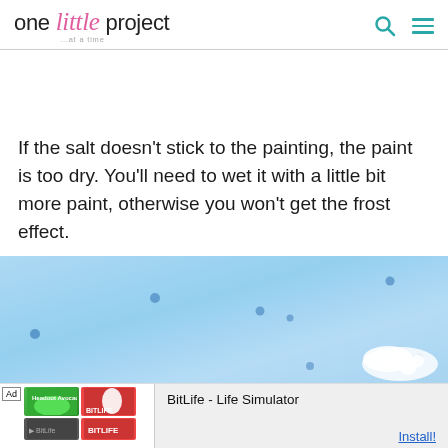one little project ...at a time
If the salt doesn't stick to the painting, the paint is too dry. You'll need to wet it with a little bit more paint, otherwise you won't get the frost effect.
[Figure (photo): Close-up photo of blue watercolor paint on paper with salt crystals creating frost effect dots, and a white salt cluster in the lower right.]
[Figure (screenshot): Ad banner for BitLife - Life Simulator app with install button]